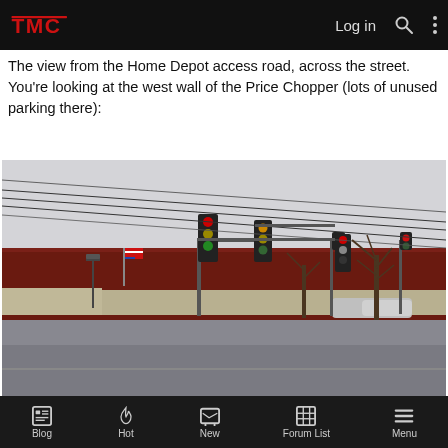TMC — Log in [search] [menu]
The view from the Home Depot access road, across the street. You're looking at the west wall of the Price Chopper (lots of unused parking there):
[Figure (photo): Street-level photo showing the west wall of a Price Chopper store (large red brick building) viewed from the Home Depot access road across the street. Traffic lights, utility poles with power lines, a bare deciduous tree, a small American flag, and an empty parking lot are visible. The sky is overcast/grey.]
Blog | Hot | New | Forum List | Menu